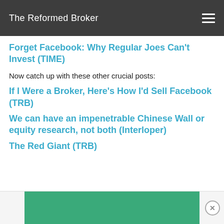The Reformed Broker
Forget Facebook: Why Regular Joes Can't Invest (TIME)
Now catch up with these other crucial posts:
If I Were a Broker, Here's How I'd Sell Facebook (TRB)
We can have an impenetrable Chinese Wall or equity research, not both (Interloper)
The Red Giant (TRB)
[Figure (other): Green advertisement banner at bottom of page with a close (X) button]